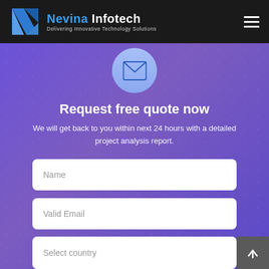Nevina Infotech - Delivering Innovative Technology Solutions
Request free quote now
We will get back to you within next 24 hours with a detailed project analysis report.
Name
Valid Email
Select country
Valid Phone Number
Descriptions